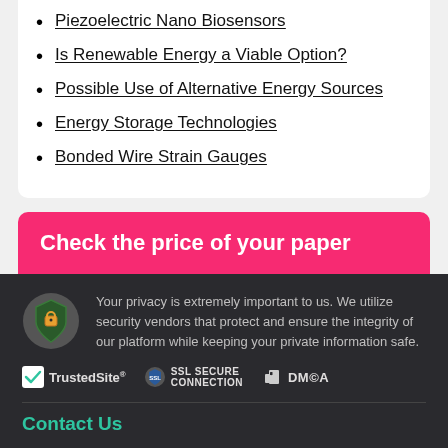Piezoelectric Nano Biosensors
Is Renewable Energy a Viable Option?
Possible Use of Alternative Energy Sources
Energy Storage Technologies
Bonded Wire Strain Gauges
Check the price of your paper
Your privacy is extremely important to us. We utilize security vendors that protect and ensure the integrity of our platform while keeping your private information safe.
TrustedSite  SSL SECURE CONNECTION  DMCA
Contact Us